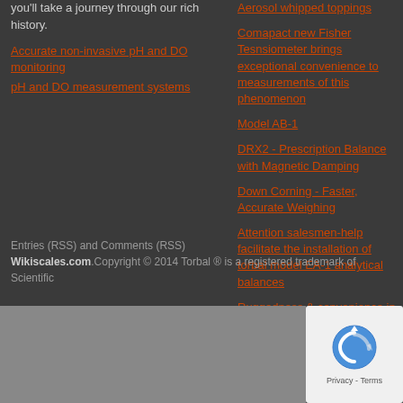you'll take a journey through our rich history.
Accurate non-invasive pH and DO monitoring
pH and DO measurement systems
Aerosol whipped toppings
Comapact new Fisher Tesnsiometer brings exceptional convenience to measurements of this phenomenon
Model AB-1
DRX2 - Prescription Balance with Magnetic Damping
Down Corning - Faster, Accurate Weighing
Attention salesmen-help facilitate the installation of torbal model EA-1 analytical balances
Ruggedness & convenience in the 2 1/2 kilo weighing range
Entries (RSS) and Comments (RSS)
Wikiscales.com.Copyright © 2014 Torbal ® is a registered trademark of Scientific